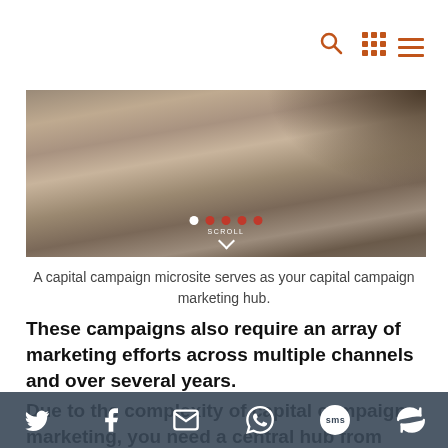[Navigation bar with blue block and icons: search, grid, menu]
[Figure (photo): Hero image of a metal/steel surface with scroll indicator dots and SCROLL chevron at the bottom]
A capital campaign microsite serves as your capital campaign marketing hub.
These campaigns also require an array of marketing efforts across multiple channels and over several years.
Due to the complexity of capital campaign marketing, you need a central hub from which your content is produced. Likewise, you need a
[Social share bar: Twitter, Facebook, Email, WhatsApp, SMS, Rotate icons]